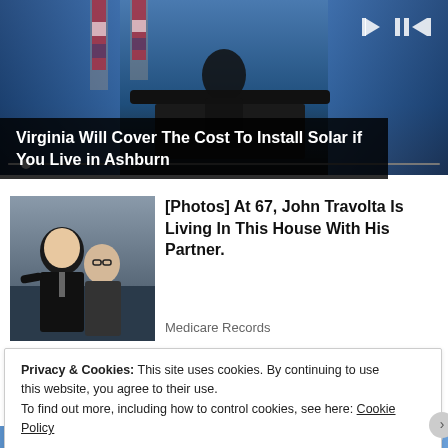[Figure (screenshot): Video player showing a podium scene with media controls (skip back, pause, skip forward) and a progress bar at the bottom]
Virginia Will Cover The Cost To Install Solar if You Live in Ashburn
[Figure (photo): Photo of two men, one appearing to kiss the other on the cheek]
[Photos] At 67, John Travolta Is Living In This House With His Partner.
Medicare Records
Privacy & Cookies: This site uses cookies. By continuing to use this website, you agree to their use.
To find out more, including how to control cookies, see here: Cookie Policy
Close and accept